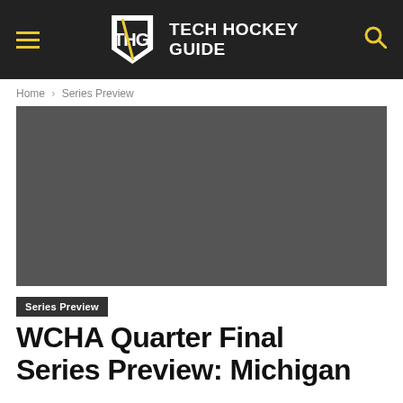TECH HOCKEY GUIDE
Home › Series Preview
[Figure (photo): Dark gray placeholder image for article hero photo]
Series Preview
WCHA Quarter Final Series Preview: Michigan